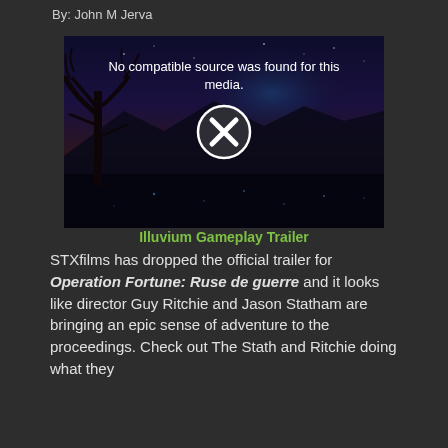By: John M Jerva
[Figure (screenshot): Video player showing error message 'No compatible source was found for this media.' with an X icon over a dark night scene background with a silhouetted tree]
Illuvium Gameplay Trailer
STXfilms has dropped the official trailer for Operation Fortune: Ruse de guerre and it looks like director Guy Ritchie and Jason Statham are bringing an epic sense of adventure to the proceedings. Check out The Stath and Ritchie doing what they